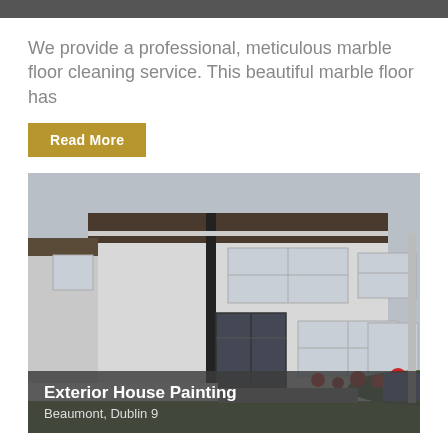We provide a professional, meticulous marble floor cleaning service. This beautiful marble floor has
Read More
[Figure (photo): Exterior photo of a semi-detached white rendered house with windows, a black downpipe, a sliding door entrance, flower beds, a white low wall, and a green lawn in the front garden. Overcast sky.]
Exterior House Painting
Beaumont, Dublin 9